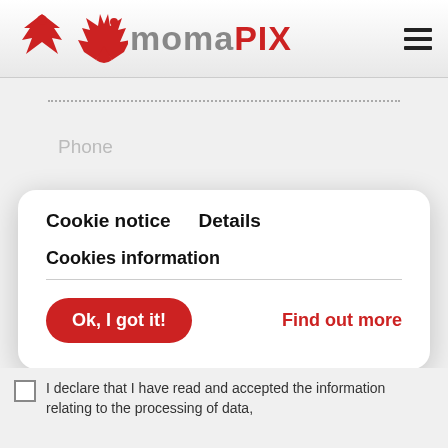[Figure (logo): MomaPix logo with red bird silhouette and text 'momaPIX' in grey and red]
Phone
[Figure (screenshot): Cookie notice modal dialog with tabs 'Cookie notice' and 'Details', section title 'Cookies information', an 'Ok, I got it!' red pill button, and a 'Find out more' red text link]
I declare that I have read and accepted the information relating to the processing of data,